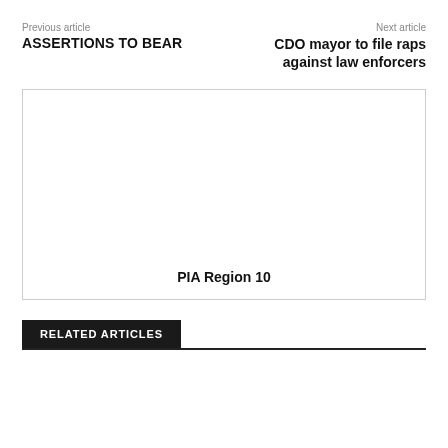Previous article
ASSERTIONS TO BEAR
Next article
CDO mayor to file raps against law enforcers
[Figure (other): Empty white image box with text 'PIA Region 10' at the bottom center]
RELATED ARTICLES